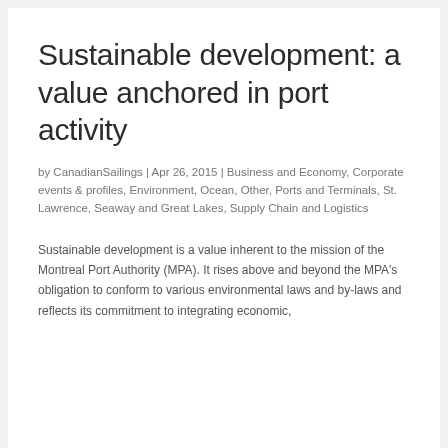Sustainable development: a value anchored in port activity
by CanadianSailings | Apr 26, 2015 | Business and Economy, Corporate events & profiles, Environment, Ocean, Other, Ports and Terminals, St. Lawrence, Seaway and Great Lakes, Supply Chain and Logistics
Sustainable development is a value inherent to the mission of the Montreal Port Authority (MPA). It rises above and beyond the MPA's obligation to conform to various environmental laws and by-laws and reflects its commitment to integrating economic,